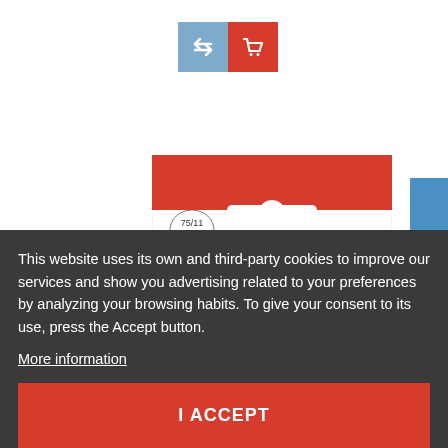[Figure (screenshot): Two UI buttons: a blue button with a swap/arrow icon and a red button with a shopping cart icon]
[Figure (photo): Product packaging for 'Twin Stretch' sewing needles size 75/11 4.0mm, with a red header band and product image showing needles on fabric]
[Figure (other): Blue vertical FILTER button with funnel icon on the right side]
This website uses its own and third-party cookies to improve our services and show you advertising related to your preferences by analyzing your browsing habits. To give your consent to its use, press the Accept button.
More information
I ACCEPT